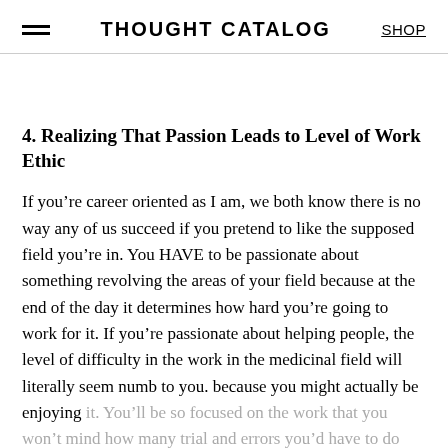THOUGHT CATALOG | SHOP
4. Realizing That Passion Leads to Level of Work Ethic
If you’re career oriented as I am, we both know there is no way any of us succeed if you pretend to like the supposed field you’re in. You HAVE to be passionate about something revolving the areas of your field because at the end of the day it determines how hard you’re going to work for it. If you’re passionate about helping people, the level of difficulty in the work in the medicinal field will literally seem numb to you. because you might actually be enjoying it. You’ll be so focused on the work that you won’t mind how many trial and errors you’d have to do over